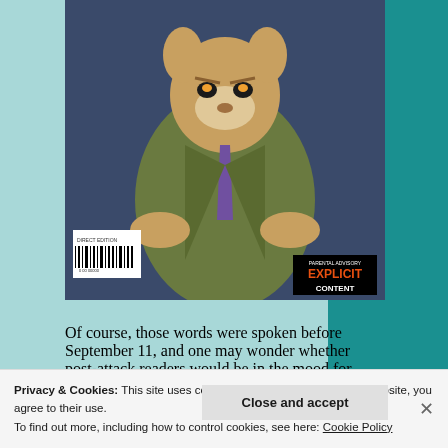[Figure (illustration): Comic book cover showing an anthropomorphic animal character (fox/cat) dressed in a suit and tie, seated cross-legged. Has 'Parental Advisory Explicit Content' label and a barcode in the bottom left.]
Of course, those words were spoken before September 11, and one may wonder whether post-attack readers would be in the mood for Howard's pointed critiques of America's political and cultural environment. Fortunately,
Privacy & Cookies: This site uses cookies. By continuing to use this website, you agree to their use.
To find out more, including how to control cookies, see here: Cookie Policy